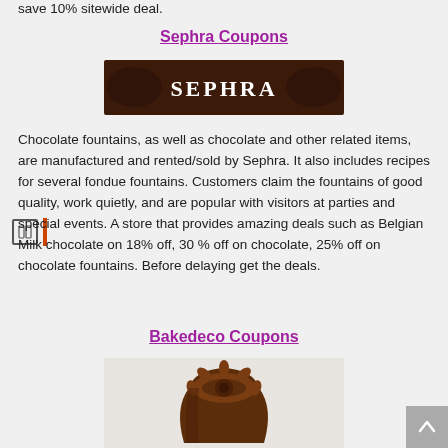save 10% sitewide deal.
Sephra Coupons
[Figure (logo): Sephra brand logo — dark brown background with the word SEPHRA in white serif lettering]
Chocolate fountains, as well as chocolate and other related items, are manufactured and rented/sold by Sephra. It also includes recipes for several fondue fountains. Customers claim the fountains of good quality, work quietly, and are popular with visitors at parties and special events. A store that provides amazing deals such as Belgian Milk chocolate on 18% off, 30 % off on chocolate, 25% off on chocolate fountains. Before delaying get the deals.
Bakedeco Coupons
[Figure (photo): Dark chocolate decorative molded chocolate piece shaped like an ornate flower/sunflower on a light background]